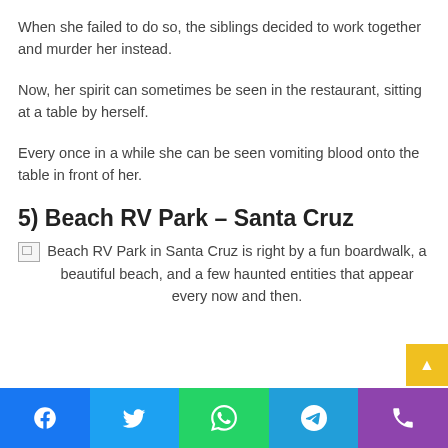When she failed to do so, the siblings decided to work together and murder her instead.
Now, her spirit can sometimes be seen in the restaurant, sitting at a table by herself.
Every once in a while she can be seen vomiting blood onto the table in front of her.
5) Beach RV Park – Santa Cruz
[Figure (photo): Broken image placeholder followed by caption text about Beach RV Park in Santa Cruz being right by a fun boardwalk, a beautiful beach, and a few haunted entities that appear every now and then.]
Social share bar: Facebook, Twitter, WhatsApp, Telegram, Phone